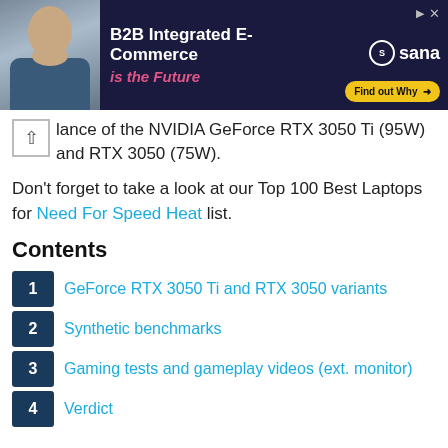[Figure (other): Advertisement banner for Sana B2B Integrated E-Commerce with man photo and 'Find out Why' button on dark navy background]
lance of the NVIDIA GeForce RTX 3050 Ti (95W) and RTX 3050 (75W).
Don't forget to take a look at our Top 100 Best Laptops for Need For Speed Heat list.
Contents
1 GeForce RTX 3050 Ti and RTX 3050 variants
2 Synthetic benchmarks
3 Gaming tests and gameplay videos (ext. monitor)
4 Verdict